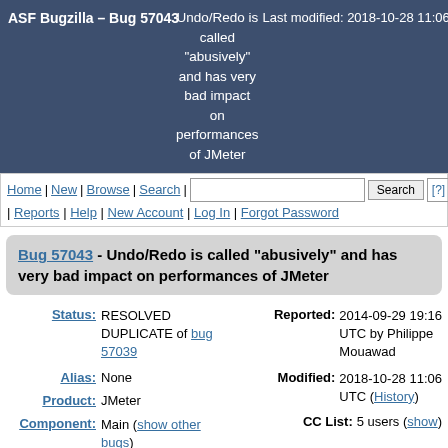ASF Bugzilla – Bug 57043 | Undo/Redo is called "abusively" and has very bad impact on performances of JMeter | Last modified: 2018-10-28 11:06
Home | New | Browse | Search | [Search button] [?] | Reports | Help | New Account | Log In | Forgot Password
Bug 57043 - Undo/Redo is called "abusively" and has very bad impact on performances of JMeter
Status: RESOLVED DUPLICATE of bug 57039
Reported: 2014-09-29 19:16 UTC by Philippe Mouawad
Alias: None
Modified: 2018-10-28 11:06 UTC (History)
CC List: 5 users (show)
Product: JMeter
Component: Main (show other bugs)
Version: Nightly (Please specify date)